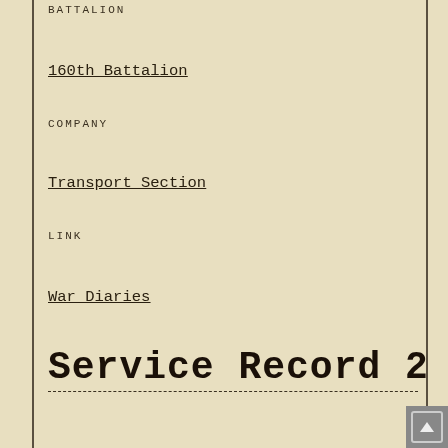BATTALION
160th Battalion
COMPANY
Transport Section
LINK
War Diaries
Service Record 2